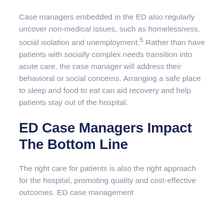Case managers embedded in the ED also regularly uncover non-medical issues, such as homelessness, social isolation and unemployment.5 Rather than have patients with socially complex needs transition into acute care, the case manager will address their behavioral or social concerns. Arranging a safe place to sleep and food to eat can aid recovery and help patients stay out of the hospital.
ED Case Managers Impact The Bottom Line
The right care for patients is also the right approach for the hospital, promoting quality and cost-effective outcomes. ED case management